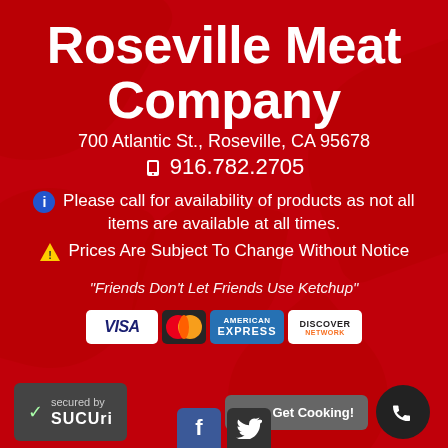Roseville Meat Company
700 Atlantic St., Roseville, CA 95678
📱 916.782.2705
ℹ Please call for availability of products as not all items are available at all times.
⚠ Prices Are Subject To Change Without Notice
"Friends Don't Let Friends Use Ketchup"
[Figure (other): Payment method logos: VISA, MasterCard, American Express, Discover]
secured by Sucuri
Let's Get Cooking!